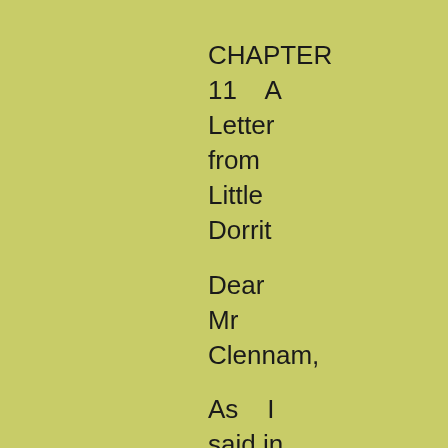CHAPTER 11    A Letter from Little Dorrit
Dear Mr Clennam,
As    I said in my last that    it was host